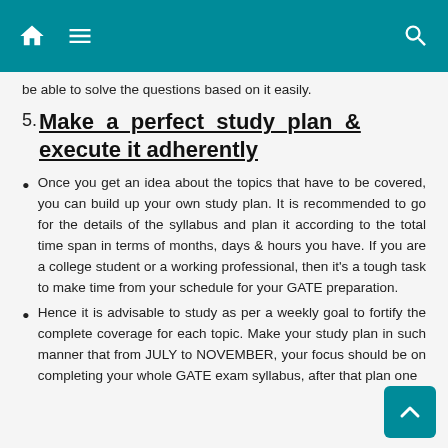be able to solve the questions based on it easily.
5. Make a perfect study plan & execute it adherently
Once you get an idea about the topics that have to be covered, you can build up your own study plan. It is recommended to go for the details of the syllabus and plan it according to the total time span in terms of months, days & hours you have. If you are a college student or a working professional, then it's a tough task to make time from your schedule for your GATE preparation.
Hence it is advisable to study as per a weekly goal to fortify the complete coverage for each topic. Make your study plan in such manner that from JULY to NOVEMBER, your focus should be on completing your whole GATE exam syllabus, after that plan one